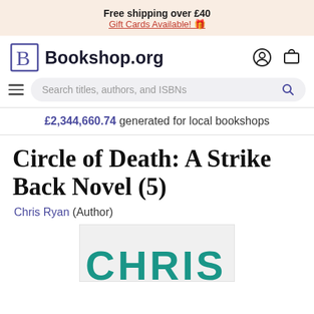Free shipping over £40
Gift Cards Available! 🎁
[Figure (logo): Bookshop.org logo with stylized B and wordmark, plus account and cart icons]
[Figure (screenshot): Search bar with hamburger menu icon and search icon for 'Search titles, authors, and ISBNs']
£2,344,660.74 generated for local bookshops
Circle of Death: A Strike Back Novel (5)
Chris Ryan (Author)
[Figure (photo): Partial view of book cover showing 'CHRIS' text in teal/green color at bottom]